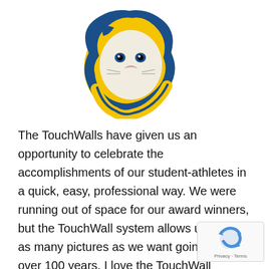[Figure (logo): A lion mascot logo with blue and yellow/gold colors — lion head facing left with a flowing yellow mane outlined in blue]
The TouchWalls have given us an opportunity to celebrate the accomplishments of our student-athletes in a quick, easy, professional way. We were running out of space for our award winners, but the TouchWall system allows us to add as many pictures as we want going back over 100 years. I love the TouchWall System because it is easy to use and you can instantly make changes and updates as you see fit. This is a great way to